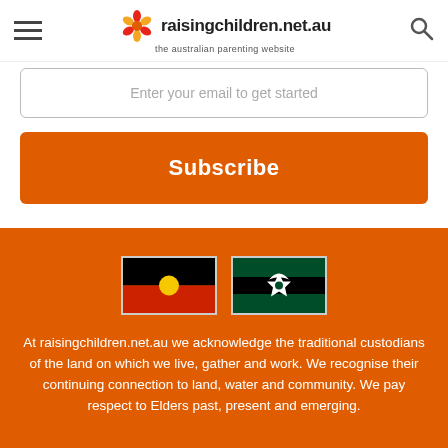raisingchildren.net.au — the australian parenting website
Enter your email to get started
Subscribe
[Figure (illustration): Aboriginal flag and Torres Strait Islander flag side by side]
At raisingchildren.net.au we acknowledge the traditional custodians of the land on which we live, gather and work. We recognise their continuing connection to land, water and community. We pay respect to Elders past, present and emerging.